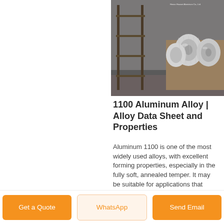[Figure (photo): Warehouse photo showing aluminum coil rolls stacked on wooden pallets in an industrial facility, with a metal rack/frame structure in the foreground. A small company logo/watermark is visible in the top right: 'Henan Huawei Aluminium Co., Ltd'.]
1100 Aluminum Alloy | Alloy Data Sheet and Properties
Aluminum 1100 is one of the most widely used alloys, with excellent forming properties, especially in the fully soft, annealed temper. It may be suitable for applications that require bending,
Get a Quote  WhatsApp  Send Email